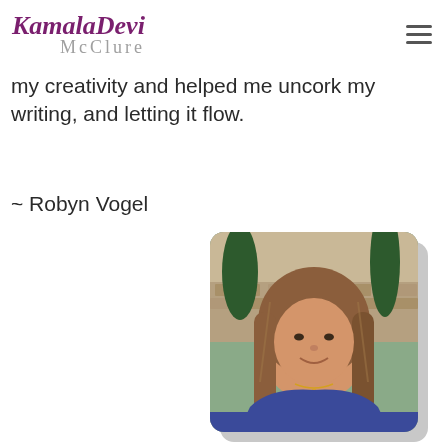KamalaDevi McClure
my creativity and helped me uncork my writing, and letting it flow.
~ Robyn Vogel
[Figure (photo): Headshot photo of Robyn Vogel, a woman with long brown hair, wearing a blue top, smiling, with trees and stone wall in the background. The photo has a rounded-corner frame with a gray drop shadow.]